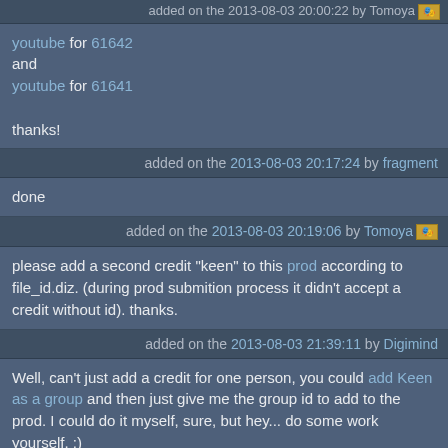added on the 2013-08-03 20:00:22 by Tomoya
youtube for 61642
and
youtube for 61641

thanks!
added on the 2013-08-03 20:17:24 by fragment
done
added on the 2013-08-03 20:19:06 by Tomoya
please add a second credit "keen" to this prod according to file_id.diz. (during prod submition process it didn't accept a credit without id). thanks.
added on the 2013-08-03 21:39:11 by Digimind
Well, can't just add a credit for one person, you could add Keen as a group and then just give me the group id to add to the prod. I could do it myself, sure, but hey... do some work yourself. :)
added on the 2013-08-03 21:51:14 by Tomoya
Tomoya: thanks for explanation, here's the second credit for adding...